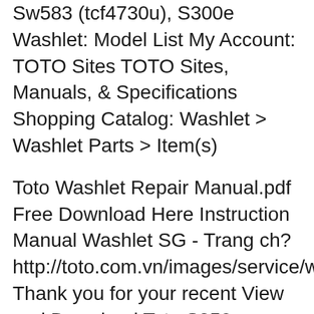Sw583 (tcf4730u), S300e Washlet: Model List My Account: TOTO Sites TOTO Sites, Manuals, & Specifications Shopping Catalog: Washlet > Washlet Parts > Item(s)
Toto Washlet Repair Manual.pdf Free Download Here Instruction Manual Washlet SG - Trang ch? http://toto.com.vn/images/service/washlet.pdf Thank you for your recent View and Download Toto S350e instruction manual online. WASHLET. S350e Plumbing Product pdf manual download. Also for: Sw584 (tcf4731u), Sw583 (tcf4730u), S300e
The TOTO S300e is TOTO's newest